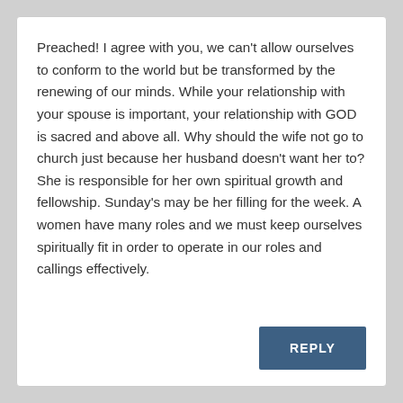Preached! I agree with you, we can't allow ourselves to conform to the world but be transformed by the renewing of our minds. While your relationship with your spouse is important, your relationship with GOD is sacred and above all. Why should the wife not go to church just because her husband doesn't want her to? She is responsible for her own spiritual growth and fellowship. Sunday's may be her filling for the week. A women have many roles and we must keep ourselves spiritually fit in order to operate in our roles and callings effectively.